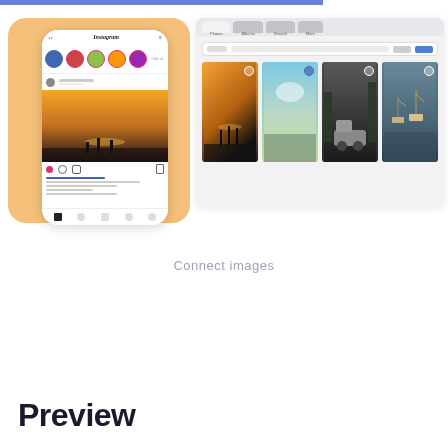[Figure (screenshot): Left: Instagram mobile app showing a beach sunset post with stories and navigation bar, on an orange/peach rounded background. Right: Desktop browser window showing a photo grid with four landscape thumbnails (beach sunset, sky/water, dark forest/jeep, boats in harbor) with checkboxes.]
Connect images
Preview